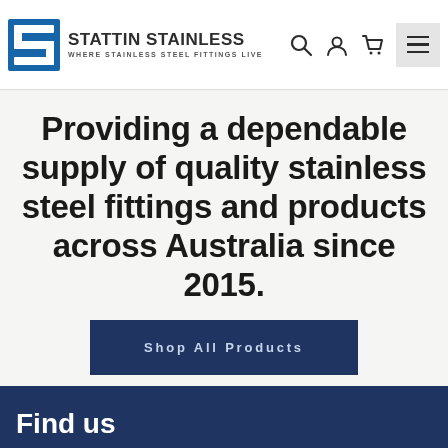STATTIN STAINLESS — WHERE STAINLESS STEEL FITTINGS LIVE
Providing a dependable supply of quality stainless steel fittings and products across Australia since 2015.
Shop All Products
Find us